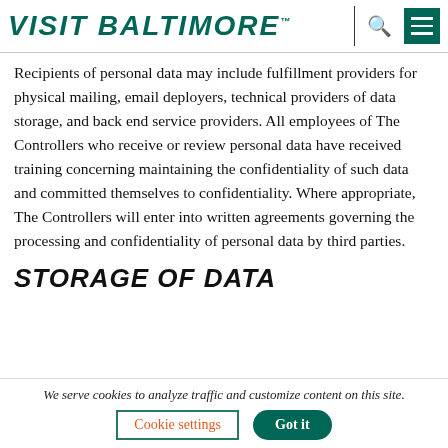VISIT BALTIMORE
Recipients of personal data may include fulfillment providers for physical mailing, email deployers, technical providers of data storage, and back end service providers. All employees of The Controllers who receive or review personal data have received training concerning maintaining the confidentiality of such data and committed themselves to confidentiality. Where appropriate, The Controllers will enter into written agreements governing the processing and confidentiality of personal data by third parties.
STORAGE OF DATA
We serve cookies to analyze traffic and customize content on this site.
Cookie settings  Got it